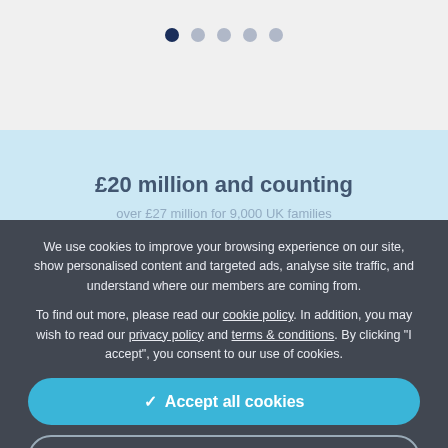[Figure (other): Carousel navigation dots: one dark navy active dot followed by four lighter gray inactive dots]
£20 million and counting
We use cookies to improve your browsing experience on our site, show personalised content and targeted ads, analyse site traffic, and understand where our members are coming from.
To find out more, please read our cookie policy. In addition, you may wish to read our privacy policy and terms & conditions. By clicking "I accept", you consent to our use of cookies.
✓  Accept all cookies
⚙  Manage settings